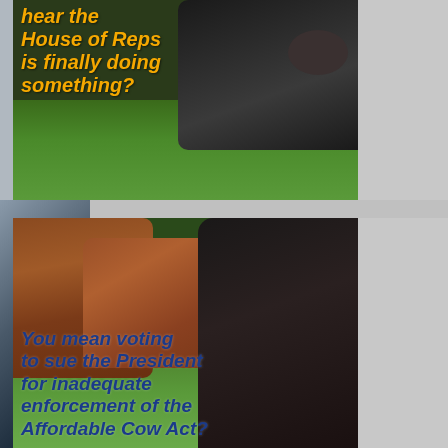[Figure (photo): A black cow lying on green grass, with yellow italic bold text overlay reading: 'hear the House of Reps is finally doing something?']
[Figure (photo): Brown and black cows standing in a green field, with dark blue italic bold text overlay reading: 'You mean voting to sue the President for inadequate enforcement of the Affordable Cow Act?']